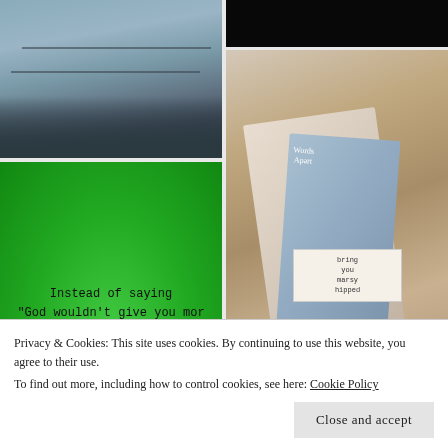[Figure (photo): Aerial view of a highway interchange with heavy traffic and urban infrastructure]
[Figure (photo): Dark/black image, mostly black with no visible detail]
[Figure (photo): Basket containing books including one titled 'Words Apart', decorative items including a handwritten note card]
[Figure (illustration): Green background with typewriter-font text quote: Instead of saying "God wouldn't give you more than you could handle," you could say, "Let me come over and do some laundry." with @SupportForSpecialNeeds watermark]
[Figure (photo): Woman with auburn hair speaking at a microphone at what appears to be a conference or event]
[Figure (photo): Colorful strip image, partial view]
[Figure (photo): Cocoa Krispies cereal boxes on a shelf]
Privacy & Cookies: This site uses cookies. By continuing to use this website, you agree to their use.
To find out more, including how to control cookies, see here: Cookie Policy
Close and accept